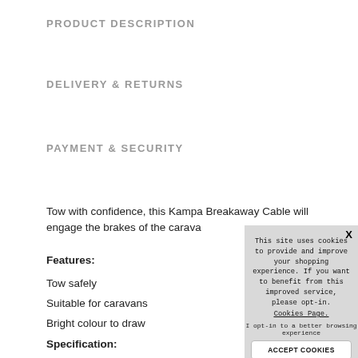PRODUCT DESCRIPTION
DELIVERY & RETURNS
PAYMENT & SECURITY
Tow with confidence, this Kampa Breakaway Cable will engage the brakes of the carava
Features:
Tow safely
Suitable for caravans
Bright colour to draw
Specification:
[Figure (screenshot): Cookie consent popup overlay with text: 'This site uses cookies to provide and improve your shopping experience. If you want to benefit from this improved service, please opt-in. Cookies Page. I opt-in to a better browsing experience' and an ACCEPT COOKIES button. Has an X close button in top right.]